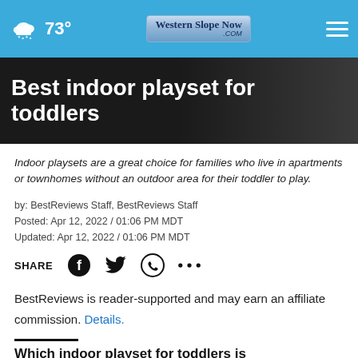73° Western Slope Now .com [hamburger menu]
Best indoor playset for toddlers
Indoor playsets are a great choice for families who live in apartments or townhomes without an outdoor area for their toddler to play.
by: BestReviews Staff, BestReviews Staff
Posted: Apr 12, 2022 / 01:06 PM MDT
Updated: Apr 12, 2022 / 01:06 PM MDT
SHARE [Facebook] [Twitter] [WhatsApp] [more]
BestReviews is reader-supported and may earn an affiliate commission. Details.
Which indoor playset for toddlers is